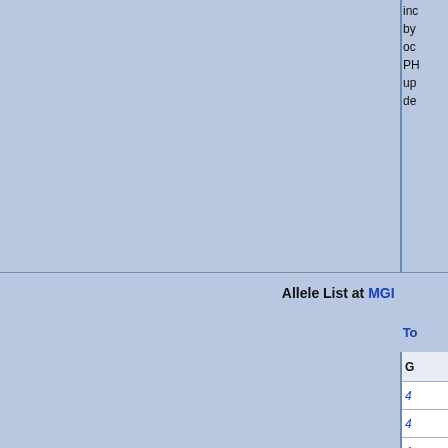inc by oc PH up de
| Allele List at MGI |  |
| --- | --- |
| Other mutations in this stock | To |
|  | G |
|  | 4 |
|  | 4 |
|  | A |
|  | A |
|  | A |
|  | A |
|  | A |
|  | A |
|  | A |